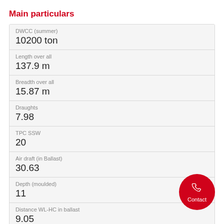Main particulars
| Property | Value |
| --- | --- |
| DWCC (summer) | 10200 ton |
| Length over all | 137.9 m |
| Breadth over all | 15.87 m |
| Draughts | 7.98 |
| TPC SSW | 20 |
| Air draft (in Ballast) | 30.63 |
| Depth (moulded) | 11 |
| Distance WL-HC in ballast | 9.05 |